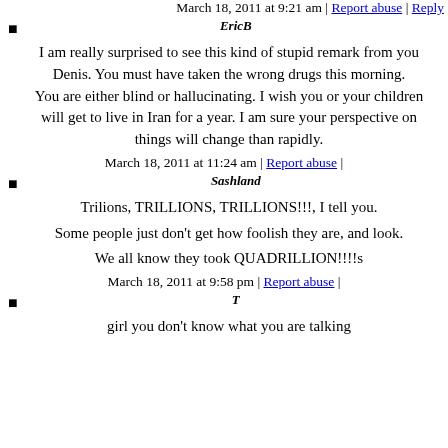March 18, 2011 at 9:21 am | Report abuse | Reply
EricB
I am really surprised to see this kind of stupid remark from you Denis. You must have taken the wrong drugs this morning.
You are either blind or hallucinating. I wish you or your children will get to live in Iran for a year. I am sure your perspective on things will change than rapidly.
March 18, 2011 at 11:24 am | Report abuse |
Sashland
Trilions, TRILLIONS, TRILLIONS!!!, I tell you.
Some people just don't get how foolish they are, and look.
We all know they took QUADRILLION!!!!s
March 18, 2011 at 9:58 pm | Report abuse |
T
girl you don't know what you are talking about, and we can't disclose here, and further the...